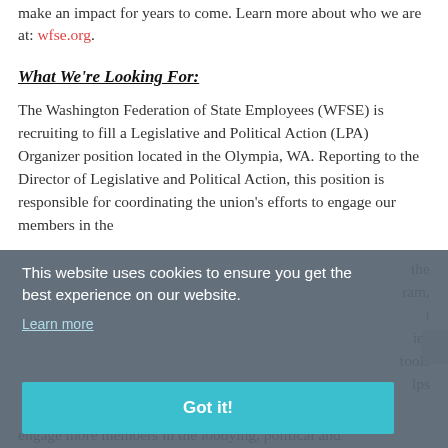make an impact for years to come. Learn more about who we are at: wfse.org.
What We're Looking For:
The Washington Federation of State Employees (WFSE) is recruiting to fill a Legislative and Political Action (LPA) Organizer position located in the Olympia, WA. Reporting to the Director of Legislative and Political Action, this position is responsible for coordinating the union's efforts to engage our members in the
the ram, t ies tools lps engage more members in the lobbying, political and
[Figure (other): Cookie consent overlay with gray semi-transparent background. Contains text: 'This website uses cookies to ensure you get the best experience on our website.' with a 'Learn more' link and a teal 'Got it!' button.]